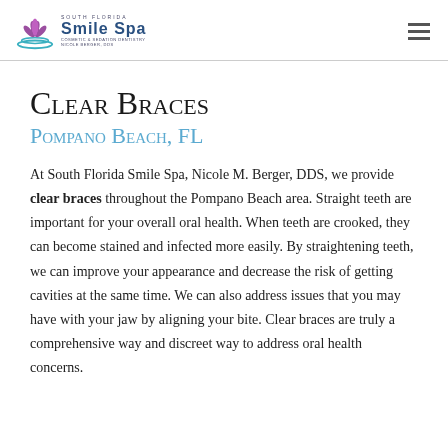[Figure (logo): South Florida Smile Spa logo with purple lotus flower icon and teal wave, text reads SOUTH FLORIDA SMILE SPA Cosmetic & Sedation Dentistry Nicole Berger DDS]
Clear Braces
Pompano Beach, FL
At South Florida Smile Spa, Nicole M. Berger, DDS, we provide clear braces throughout the Pompano Beach area. Straight teeth are important for your overall oral health. When teeth are crooked, they can become stained and infected more easily. By straightening teeth, we can improve your appearance and decrease the risk of getting cavities at the same time. We can also address issues that you may have with your jaw by aligning your bite. Clear braces are truly a comprehensive way and discreet way to address oral health concerns.